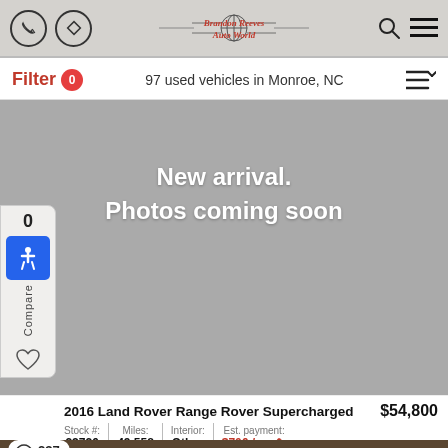Brandon Reeves Auto World — navigation header with phone, directions, search, and menu icons
Filter 0 — 97 used vehicles in Monroe, NC — sort icon
[Figure (photo): Gray placeholder image with white text reading 'New arrival. Photos coming soon']
2016 Land Rover Range Rover Supercharged $54,800
Stock #: 22726 | Miles: 49,558 | Interior: Other | Est. payment: $706 /mo
[Figure (photo): Partial view of next vehicle listing showing a brown/tan vehicle with 237 views]
237 views